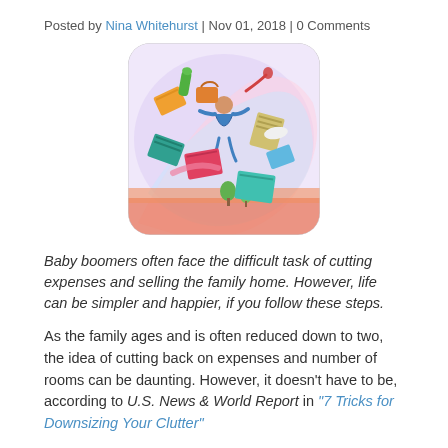Posted by Nina Whitehurst | Nov 01, 2018 | 0 Comments
[Figure (illustration): Colorful artistic illustration showing a figure with arms raised and various objects (books, bags, items) flying around against a bright multicolored background, with a rounded square frame.]
Baby boomers often face the difficult task of cutting expenses and selling the family home. However, life can be simpler and happier, if you follow these steps.
As the family ages and is often reduced down to two, the idea of cutting back on expenses and number of rooms can be daunting. However, it doesn't have to be, according to U.S. News & World Report in "7 Tricks for Downsizing Your Clutter".